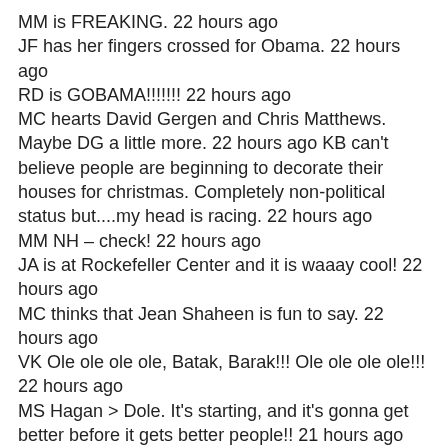MM is FREAKING. 22 hours ago
JF has her fingers crossed for Obama. 22 hours ago
RD is GOBAMA!!!!!!! 22 hours ago
MC hearts David Gergen and Chris Matthews. Maybe DG a little more. 22 hours ago KB can't believe people are beginning to decorate their houses for christmas. Completely non-political status but....my head is racing. 22 hours ago
MM NH – check! 22 hours ago
JA is at Rockefeller Center and it is waaay cool! 22 hours ago
MC thinks that Jean Shaheen is fun to say. 22 hours ago
VK Ole ole ole ole, Batak, Barak!!! Ole ole ole ole!!! 22 hours ago
MS Hagan > Dole. It's starting, and it's gonna get better before it gets better people!! 21 hours ago
MC is a little bit proud of NH and has decided that they may remain a New England state. 21 hours ago
MF is projecting the CNN hologram has lost in a landslide. 21 hours ago
MM waiting on FL. 21 hours ago
SF is also stoked how many people were out voting and showing they want to be heard! 21 hours ago
RD is YES WE CAN AND YES WE WILL! 21 hours ago